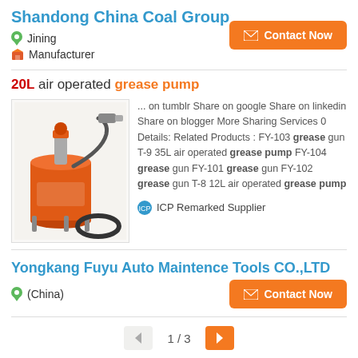Shandong China Coal Group
Jining
Manufacturer
Contact Now
20L air operated grease pump
[Figure (photo): 20L air operated grease pump product photo showing orange cylinder pump with hose and attachments]
... on tumblr Share on google Share on linkedin Share on blogger More Sharing Services 0 Details: Related Products : FY-103 grease gun T-9 35L air operated grease pump FY-104 grease gun FY-101 grease gun FY-102 grease gun T-8 12L air operated grease pump
ICP Remarked Supplier
Yongkang Fuyu Auto Maintence Tools CO.,LTD
(China)
Contact Now
1 / 3